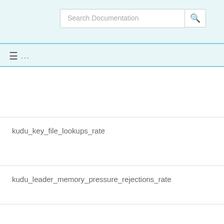Search Documentation
≡ ...
kudu_key_file_lookups_rate
kudu_leader_memory_pressure_rejections_rate